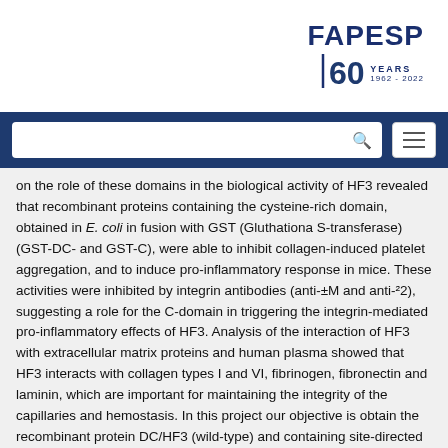[Figure (logo): FAPESP 60 Years 1962-2022 logo in navy blue]
[Figure (screenshot): Navigation bar with search box and hamburger menu on navy blue background]
on the role of these domains in the biological activity of HF3 revealed that recombinant proteins containing the cysteine-rich domain, obtained in E. coli in fusion with GST (Gluthationa S-transferase) (GST-DC- and GST-C), were able to inhibit collagen-induced platelet aggregation, and to induce pro-inflammatory response in mice. These activities were inhibited by integrin antibodies (anti-±M and anti-²2), suggesting a role for the C-domain in triggering the integrin-mediated pro-inflammatory effects of HF3. Analysis of the interaction of HF3 with extracellular matrix proteins and human plasma showed that HF3 interacts with collagen types I and VI, fibrinogen, fibronectin and laminin, which are important for maintaining the integrity of the capillaries and hemostasis. In this project our objective is obtain the recombinant protein DC/HF3 (wild-type) and containing site-directed mutations in the hyper-variable region (HVR) of the cysteine-rich domain (basic residues: K568A, K569A and K575A; acid residues: D573A, E579A, D580A, and D582A) using a cell-free synthesis system derived from E. coli